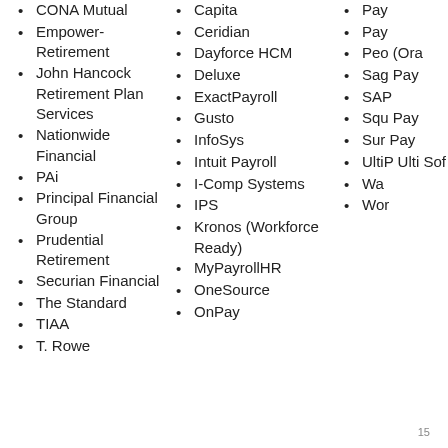CONA Mutual
Empower-Retirement
John Hancock Retirement Plan Services
Nationwide Financial
PAi
Principal Financial Group
Prudential Retirement
Securian Financial
The Standard
TIAA
T. Rowe
Capita
Ceridian
Dayforce HCM
Deluxe
ExactPayroll
Gusto
InfoSys
Intuit Payroll
I-Comp Systems
IPS
Kronos (Workforce Ready)
MyPayrollHR
OneSource
OnPay
Pay...
Pay...
Peo... (Ora...)
Sag... Pay...
SAP...
Squ... Pay...
Sur... Pay...
UltiP... Ulti... Sof...
Wa...
Wor...
15